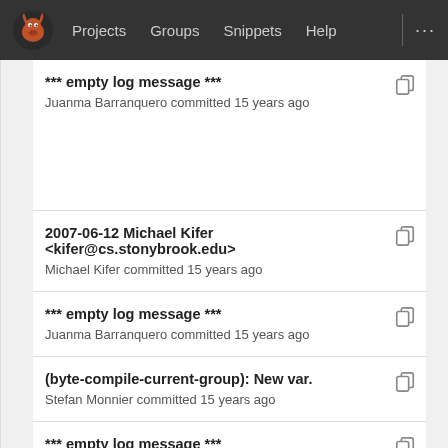Projects  Groups  Snippets  Help  ...
*** empty log message ***
Juanma Barranquero committed 15 years ago
2007-06-12 Michael Kifer <kifer@cs.stonybrook.edu>
Michael Kifer committed 15 years ago
*** empty log message ***
Juanma Barranquero committed 15 years ago
(byte-compile-current-group): New var.
Stefan Monnier committed 15 years ago
*** empty log message ***